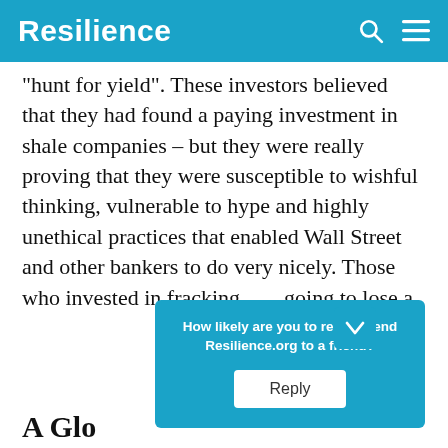Resilience
“hunt for yield”. These investors believed that they had found a paying investment in shale companies – but they were really proving that they were susceptible to wishful thinking, vulnerable to hype and highly unethical practices that enabled Wall Street and other bankers to do very nicely. Those who invested in fracking going to lose a
[Figure (screenshot): Popup overlay with text 'How likely are you to recommend Resilience.org to a friend?' and a Reply button, styled in teal/blue color matching the site header.]
A Glo